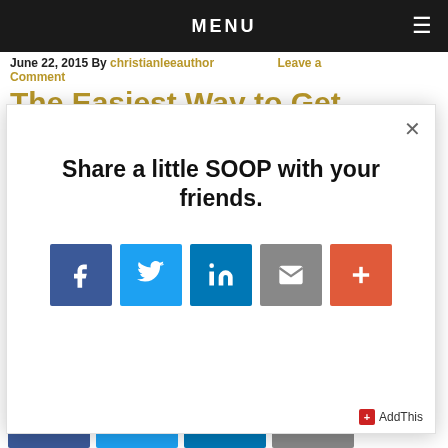MENU
June 22, 2015 By christianleeauthor   Leave a Comment
The Easiest Way to Get Votes: Part Three
Share a little SOOP with your friends.
[Figure (infographic): Social sharing modal with buttons for Facebook, Twitter, LinkedIn, Email, and More (+). Modal has a close (×) button and AddThis branding at bottom right.]